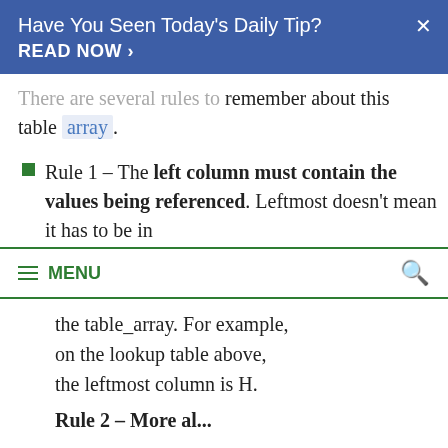Have You Seen Today's Daily Tip? READ NOW ›
There are several rules to remember about this table array.
Rule 1 – The left column must contain the values being referenced. Leftmost doesn't mean it has to be in
≡ MENU
the table_array. For example, on the lookup table above, the leftmost column is H.
Rule 2 – More al...